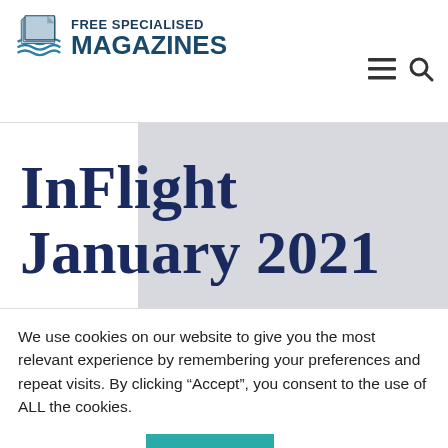[Figure (logo): Free Specialised Magazines logo with stacked pages icon and text]
InFlight January 2021
We use cookies on our website to give you the most relevant experience by remembering your preferences and repeat visits. By clicking “Accept”, you consent to the use of ALL the cookies.
Cookie settings
ACCEPT